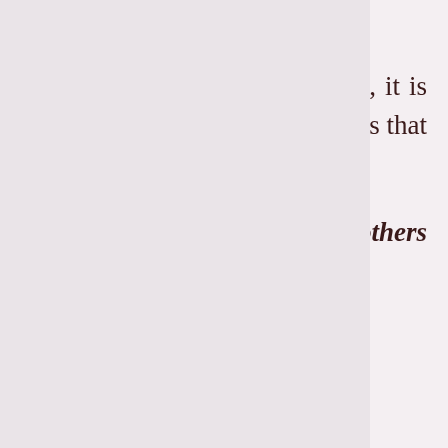(30) 16 45 Privy Council 184)
wherein the Privy Council while considering the requirement to “have regard to” the provisions, it is held that it has no more definite or technical meaning than that of ordinary usage and it only means that it requires that those provisions must be taken into consideration. Another judgment relied upon is
Mohammad Sagiruddin v. The District Mechanical Engineer, N.E.F.Railways, Kathihar and others (AIR 1966 Patna 184).
In that case also, the Division